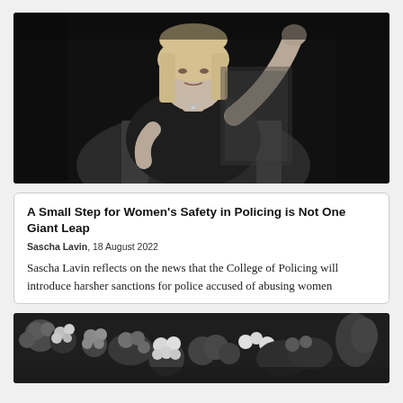[Figure (photo): Black and white photograph of a blonde woman in a black outfit seated, raising her right fist upward, in what appears to be a formal or conference setting.]
A Small Step for Women's Safety in Policing is Not One Giant Leap
Sascha Lavin, 18 August 2022
Sascha Lavin reflects on the news that the College of Policing will introduce harsher sanctions for police accused of abusing women
[Figure (photo): Black and white photograph of flowers and floral tributes, partially visible at the bottom of the page.]